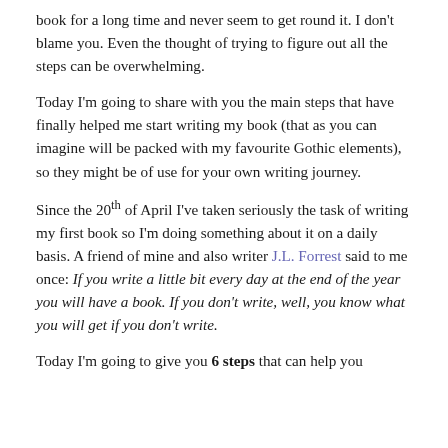book for a long time and never seem to get round it. I don't blame you. Even the thought of trying to figure out all the steps can be overwhelming.
Today I'm going to share with you the main steps that have finally helped me start writing my book (that as you can imagine will be packed with my favourite Gothic elements), so they might be of use for your own writing journey.
Since the 20th of April I've taken seriously the task of writing my first book so I'm doing something about it on a daily basis. A friend of mine and also writer J.L. Forrest said to me once: If you write a little bit every day at the end of the year you will have a book. If you don't write, well, you know what you will get if you don't write.
Today I'm going to give you 6 steps that can help you